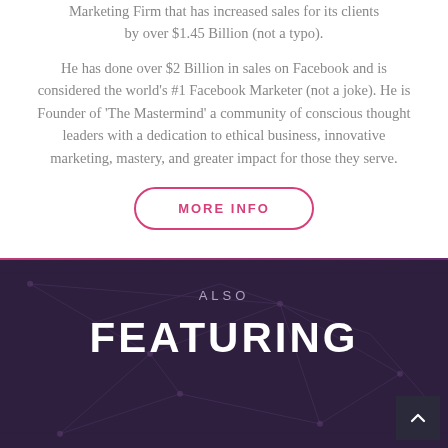Marketing Firm that has increased sales for its clients by over $1.45 Billion (not a typo).
He has done over $2 Billion in sales on Facebook and is considered the world's #1 Facebook Marketer (not a joke). He is Founder of 'The Mastermind' a community of conscious thought leaders with a dedication to ethical business, innovative marketing, mastery, and greater impact for those they serve.
MORE INFO
ALSO
FEATURING